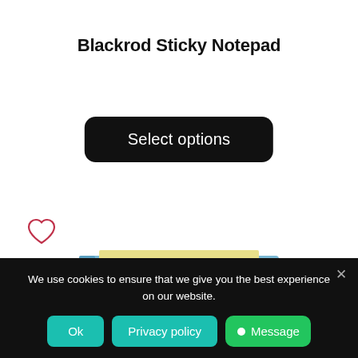Blackrod Sticky Notepad
Select options
[Figure (illustration): Heart/wishlist outline icon in red/crimson stroke]
[Figure (photo): Blue sticky notepad with yellow sticky notes visible from the top, photographed at an angle against white background]
We use cookies to ensure that we give you the best experience on our website.
Ok
Privacy policy
Message